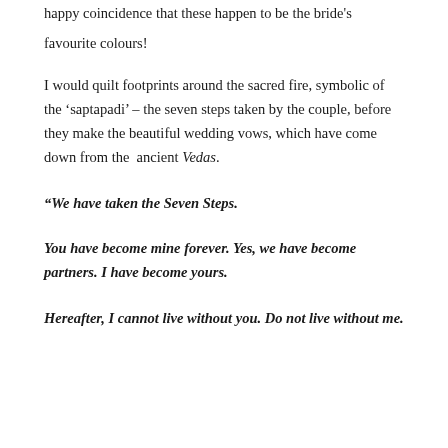happy coincidence that these happen to be the bride's favourite colours!
I would quilt footprints around the sacred fire, symbolic of the 'saptapadi' – the seven steps taken by the couple, before they make the beautiful wedding vows, which have come down from the ancient Vedas.
“We have taken the Seven Steps.
You have become mine forever. Yes, we have become partners. I have become yours.
Hereafter, I cannot live without you. Do not live without me.